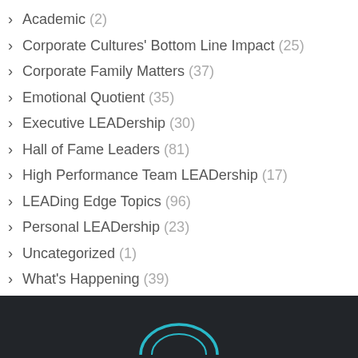Academic (2)
Corporate Cultures' Bottom Line Impact (25)
Corporate Family Matters (37)
Emotional Quotient (35)
Executive LEADership (30)
Hall of Fame Leaders (81)
High Performance Team LEADership (17)
LEADing Edge Topics (96)
Personal LEADership (23)
Uncategorized (1)
What's Happening (39)
[Figure (logo): Partial logo/arc graphic in teal/cyan on dark background at the bottom of the page]